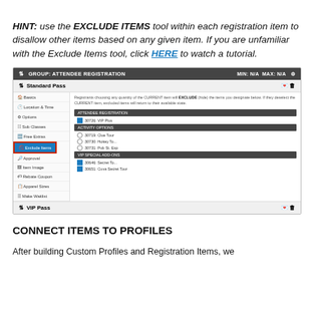HINT: use the EXCLUDE ITEMS tool within each registration item to disallow other items based on any given item. If you are unfamiliar with the Exclude Items tool, click HERE to watch a tutorial.
[Figure (screenshot): Screenshot of attendee registration group interface showing Standard Pass with Exclude Items menu selected, displaying activity options and VIP add-ons with checkboxes, and VIP Pass section below.]
CONNECT ITEMS TO PROFILES
After building Custom Profiles and Registration Items, we